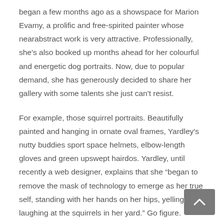began a few months ago as a showspace for Marion Evamy, a prolific and free-spirited painter whose nearabstract work is very attractive. Professionally, she's also booked up months ahead for her colourful and energetic dog portraits. Now, due to popular demand, she has generously decided to share her gallery with some talents she just can't resist.
For example, those squirrel portraits. Beautifully painted and hanging in ornate oval frames, Yardley's nutty buddies sport space helmets, elbow-length gloves and green upswept hairdos. Yardley, until recently a web designer, explains that she “began to remove the mask of technology to emerge as her true self, standing with her hands on her hips, yelling and laughing at the squirrels in her yard.” Go figure.